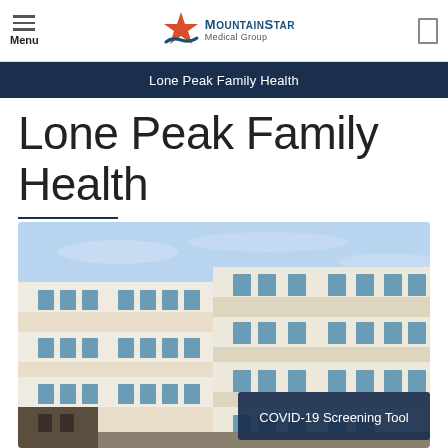Menu | MountainStar Medical Group
Lone Peak Family Health
Lone Peak Family Health
[Figure (photo): Exterior photograph of a modern multi-story medical office building with beige and white cladding, blue-tinted windows, and a blue sky background. An overlay button reads 'COVID-19 Screening Tool'.]